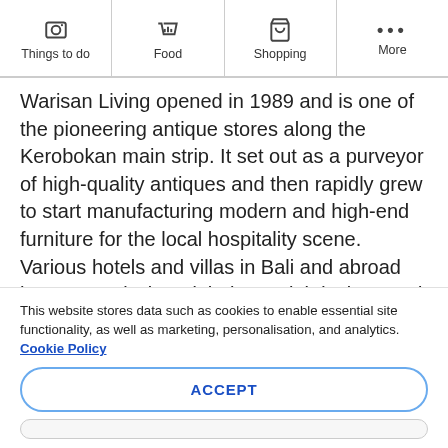Things to do | Food | Shopping | More
Warisan Living opened in 1989 and is one of the pioneering antique stores along the Kerobokan main strip. It set out as a purveyor of high-quality antiques and then rapidly grew to start manufacturing modern and high-end furniture for the local hospitality scene. Various hotels and villas in Bali and abroad have commissioned their special designs and orders here. Their beds, cabinets and partitions, tables and
This website stores data such as cookies to enable essential site functionality, as well as marketing, personalisation, and analytics. Cookie Policy
ACCEPT